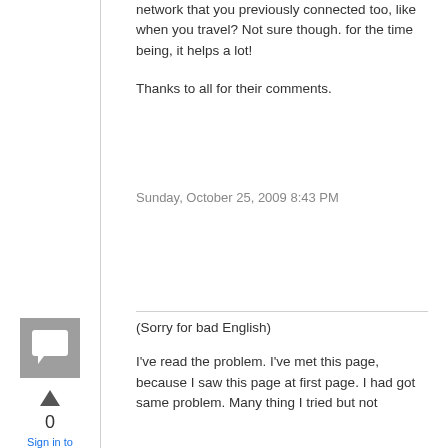network that you previously connected too, like when you travel? Not sure though. for the time being, it helps a lot!

Thanks to all for their comments.
Sunday, October 25, 2009 8:43 PM
[Figure (illustration): Gray square avatar icon with a speech/comment bubble icon inside]
0
Sign in to vote
(Sorry for bad English)

I've read the problem. I've met this page, because I saw this page at first page. I had got same problem. Many thing I tried but not